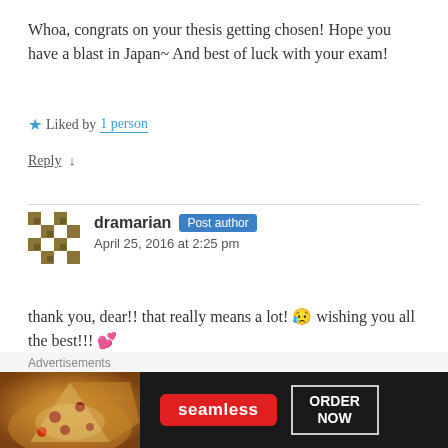Whoa, congrats on your thesis getting chosen! Hope you have a blast in Japan~ And best of luck with your exam!
★ Liked by 1 person
Reply ↓
dramarian Post author
April 25, 2016 at 2:25 pm
thank you, dear!! that really means a lot! 😢 wishing you all the best!!! 💕
[Figure (screenshot): Advertisement banner: Seamless food delivery with pizza image, ORDER NOW button]
Advertisements